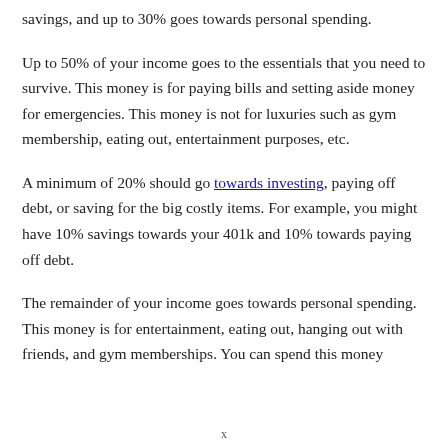savings, and up to 30% goes towards personal spending.
Up to 50% of your income goes to the essentials that you need to survive. This money is for paying bills and setting aside money for emergencies. This money is not for luxuries such as gym membership, eating out, entertainment purposes, etc.
A minimum of 20% should go towards investing, paying off debt, or saving for the big costly items. For example, you might have 10% savings towards your 401k and 10% towards paying off debt.
The remainder of your income goes towards personal spending. This money is for entertainment, eating out, hanging out with friends, and gym memberships. You can spend this money
x